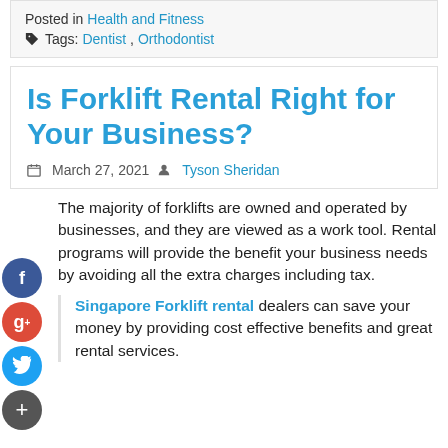Posted in Health and Fitness
🏷 Tags: Dentist, Orthodontist
Is Forklift Rental Right for Your Business?
March 27, 2021  Tyson Sheridan
The majority of forklifts are owned and operated by businesses, and they are viewed as a work tool. Rental programs will provide the benefit your business needs by avoiding all the extra charges including tax.
Singapore Forklift rental dealers can save your money by providing cost effective benefits and great rental services.